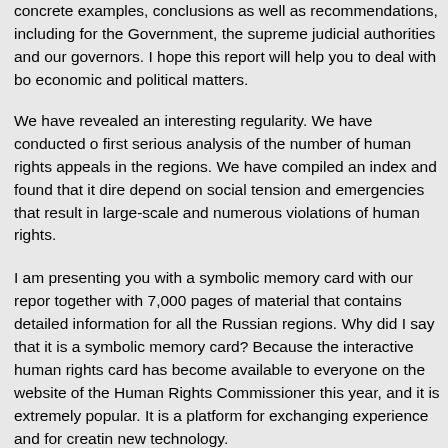concrete examples, conclusions as well as recommendations, including for the Government, the supreme judicial authorities and our governors. I hope this report will help you to deal with both economic and political matters.
We have revealed an interesting regularity. We have conducted our first serious analysis of the number of human rights appeals in the regions. We have compiled an index and found that it directly depend on social tension and emergencies that result in large-scale and numerous violations of human rights.
I am presenting you with a symbolic memory card with our report, together with 7,000 pages of material that contains detailed information for all the Russian regions. Why did I say that it is a symbolic memory card? Because the interactive human rights card has become available to everyone on the website of the Human Rights Commissioner this year, and it is extremely popular. It is a platform for exchanging experience and for creating new technology.